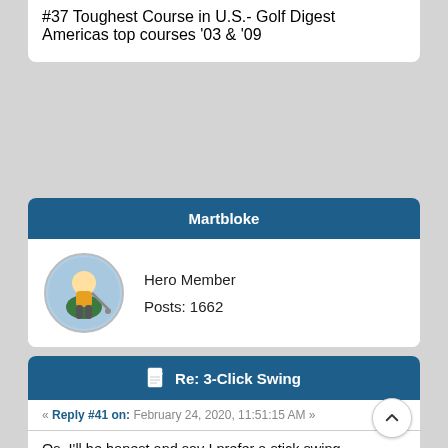#37 Toughest Course in U.S.- Golf Digest
Americas top courses '03 & '09
Martbloke
Hero Member
Posts: 1662
Re: 3-Click Swing
« Reply #41 on: February 24, 2020, 11:51:15 AM »
Os, I'll be honest and say I prefer a stick swing compared to 3-Click as for me, it feels more immersive for a golf game. I don't want to only be timing a button press to